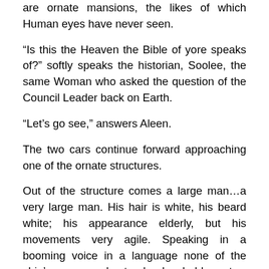are ornate mansions, the likes of which Human eyes have never seen.
“Is this the Heaven the Bible of yore speaks of?” softly speaks the historian, Soolee, the same Woman who asked the question of the Council Leader back on Earth.
“Let’s go see,” answers Aleen.
The two cars continue forward approaching one of the ornate structures.
Out of the structure comes a large man…a very large man. His hair is white, his beard white; his appearance elderly, but his movements very agile. Speaking in a booming voice in a language none of the ship’s crew understands, he holds out a finger of his hand. Instantly a bolt of energy, blue-white, streaks from his finger in the direction of the car…